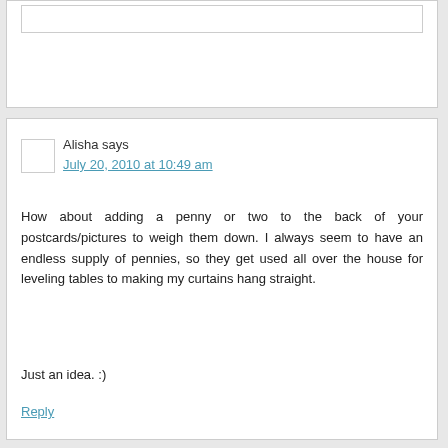Alisha says
July 20, 2010 at 10:49 am
How about adding a penny or two to the back of your postcards/pictures to weigh them down. I always seem to have an endless supply of pennies, so they get used all over the house for leveling tables to making my curtains hang straight.

Just an idea. :)
Reply